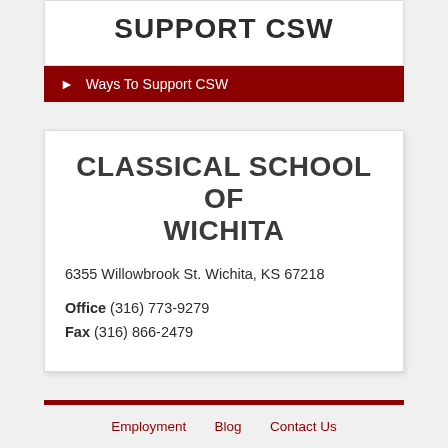SUPPORT CSW
▶ Ways To Support CSW
CLASSICAL SCHOOL OF WICHITA
6355 Willowbrook St. Wichita, KS 67218
Office (316) 773-9279
Fax (316) 866-2479
Employment   Blog   Contact Us
Statement of Non-Discrimination
© Classical School of Wichita - Office (316) 773-9279 - Fax (316)